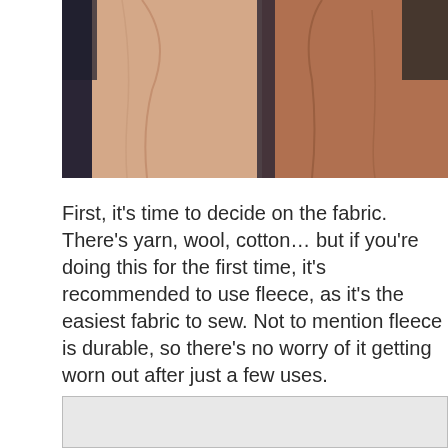[Figure (photo): Photo of two people wearing jackets, cropped to show torsos only. One person wears a light peach/salmon leather jacket, the other wears a darker brown leather jacket. Background is dark/blurred foliage.]
First, it's time to decide on the fabric. There's yarn, wool, cotton… but if you're doing this for the first time, it's recommended to use fleece, as it's the easiest fabric to sew. Not to mention fleece is durable, so there's no worry of it getting worn out after just a few uses.
Let's get started in creating a beanie from fleece:
[Figure (photo): Partial view of a light gray/white image block at the bottom of the page, cropped off.]